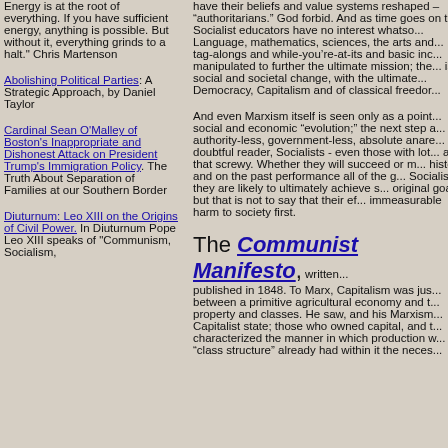Energy is at the root of everything. If you have sufficient energy, anything is possible. But without it, everything grinds to a halt." Chris Martenson
Abolishing Political Parties: A Strategic Approach, by Daniel Taylor
Cardinal Sean O'Malley of Boston's Inappropriate and Dishonest Attack on President Trump's Immigration Policy. The Truth About Separation of Families at our Southern Border
Diuturnum: Leo XIII on the Origins of Civil Power. In Diuturnum Pope Leo XIII speaks of "Communism, Socialism,
have their beliefs and value systems reshaped – “authoritarians.” God forbid. And as time goes on that Socialist educators have no interest whatso... Language, mathematics, sciences, the arts and ... tag-alongs and while-you’re-at-its and basic inc... manipulated to further the ultimate mission; the ... is social and societal change, with the ultimate ... Democracy, Capitalism and of classical freedor...
And even Marxism itself is seen only as a point... social and economic “evolution;” the next step a... authority-less, government-less, absolute anare... doubtful reader, Socialists - even those with lot... are that screwy. Whether they will succeed or m... history and on the past performance all of the g... Socialists, they are likely to ultimately achieve s... original goals; but that is not to say that their ef... immeasurable harm to society first.
The Communist Manifesto, written ... published in 1848. To Marx, Capitalism was jus... between a primitive agricultural economy and t... property and classes. He saw, and his Marxism... Capitalist state; those who owned capital, and t... characterized the manner in which production w... “class structure” already had within it the neces...